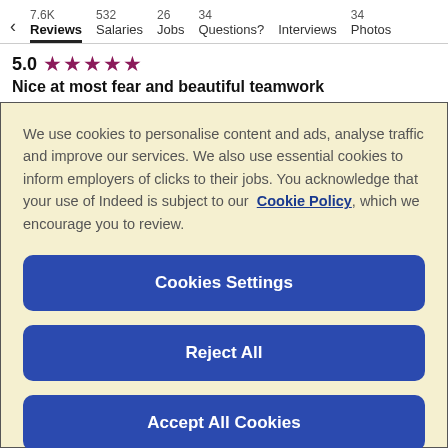< 7.6K Reviews  532 Salaries  26 Jobs  34 Questions?  Interviews  34 Photos
5.0 ★★★★★
Nice at most fear and beautiful teamwork
We use cookies to personalise content and ads, analyse traffic and improve our services. We also use essential cookies to inform employers of clicks to their jobs. You acknowledge that your use of Indeed is subject to our Cookie Policy, which we encourage you to review.
Cookies Settings
Reject All
Accept All Cookies